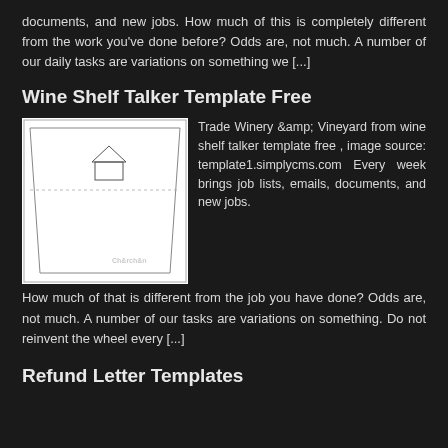documents, and new jobs. How much of this is completely different from the work you've done before? Odds are, not much. A number of our daily tasks are variations on something we [...]
Wine Shelf Talker Template Free
[Figure (illustration): A wine shelf talker template image showing a trapezoid-shaped talker with a small house/barn outline near the top center and a dotted horizontal line. Some faint text appears at the bottom right of the image.]
Trade Winery &amp; Vineyard from wine shelf talker template free , image source: template1.simplycms.com Every week brings job lists, emails, documents, and new jobs. How much of that is different from the job you have done? Odds are, not much. A number of our tasks are variations on something. Do not reinvent the wheel every [...]
Refund Letter Templates